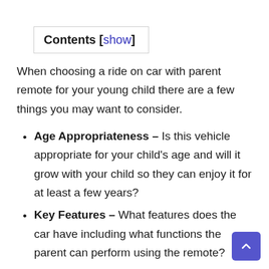Contents [show]
When choosing a ride on car with parent remote for your young child there are a few things you may want to consider.
Age Appropriateness – Is this vehicle appropriate for your child's age and will it grow with your child so they can enjoy it for at least a few years?
Key Features – What features does the car have including what functions the parent can perform using the remote?